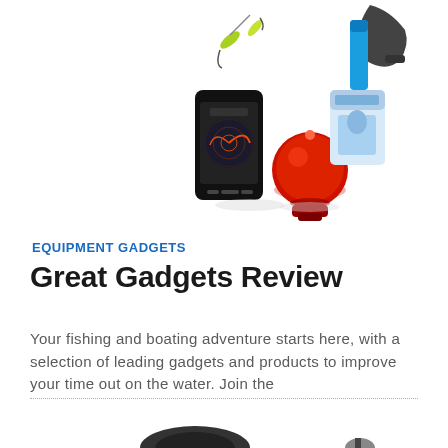[Figure (photo): Collection of fishing and boating gadgets including lures, a smartphone, a red sonar device, a fishing-themed package, and a blue tool, scattered on white background]
EQUIPMENT GADGETS
Great Gadgets Review
Your fishing and boating adventure starts here, with a selection of leading gadgets and products to improve your time out on the water. Join the
Read More »
[Figure (photo): Partial view of fishing gadgets at the bottom of the page, cropped]